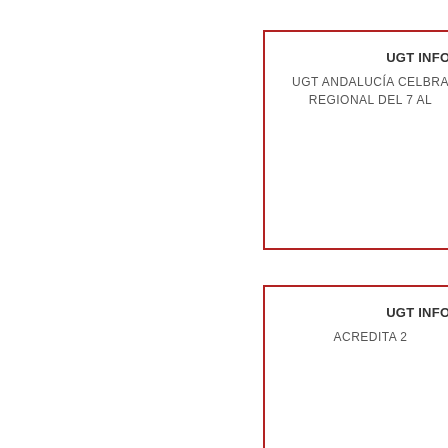UGT INFOR
UGT ANDALUCÍA CELBRA
REGIONAL DEL 7 AL
UGT INFOR
ACREDITA 2